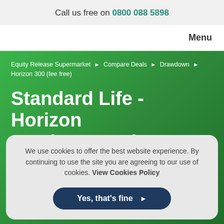Call us free on 0800 088 5898
Menu
Equity Release Supermarket › Compare Deals › Drawdown › Horizon 300 (fee free)
Standard Life - Horizon 300 (Fee Free) Drawdown
We use cookies to offer the best website experience. By continuing to use the site you are agreeing to our use of cookies. View Cookies Policy
Yes, that's fine ▶